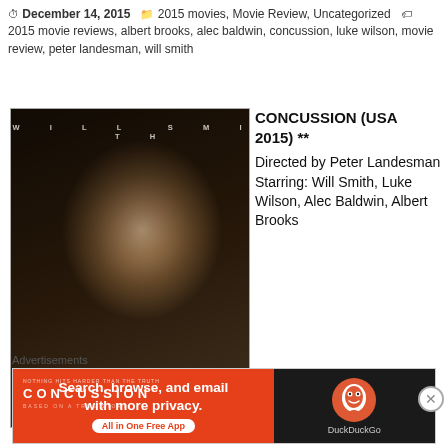December 14, 2015  |  2015 movies, Movie Review, Uncategorized  |  2015 movie reviews, albert brooks, alec baldwin, concussion, luke wilson, movie review, peter landesman, will smith
[Figure (photo): Movie poster for Concussion (2015) featuring Will Smith in shadow, with text WILL SMITH at top and CONCUSSION title at bottom]
CONCUSSION (USA 2015) **
Directed by Peter Landesman
Starring: Will Smith, Luke Wilson, Alec Baldwin, Albert Brooks
Advertisements
[Figure (screenshot): DuckDuckGo advertisement banner: Search, browse, and email with more privacy. All in One Free App. DuckDuckGo logo on dark right panel.]